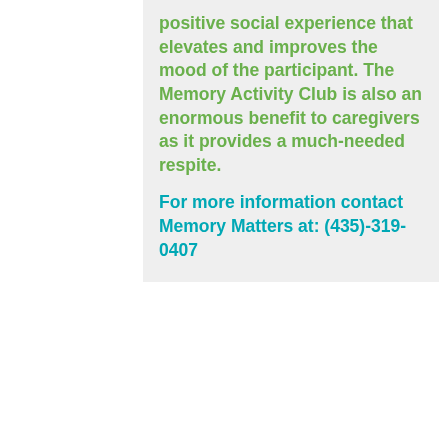positive social experience that elevates and improves the mood of the participant. The Memory Activity Club is also an enormous benefit to caregivers as it provides a much-needed respite.
For more information contact Memory Matters at: (435)-319-0407